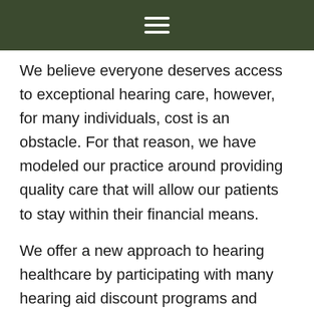We believe everyone deserves access to exceptional hearing care, however, for many individuals, cost is an obstacle. For that reason, we have modeled our practice around providing quality care that will allow our patients to stay within their financial means.
We offer a new approach to hearing healthcare by participating with many hearing aid discount programs and accept Medicaid and Fidelis insurance. Our expert insurance specialist will help you understand your hearing aid benefits and any discounts available to you. In addition, rather than pre-paying for services that you may not need, we offer an unbundled model, allowing individuals to only pay for what is appropriate for their care. We are also in